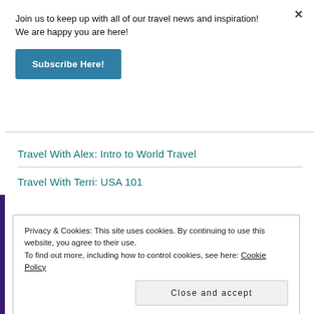Join us to keep up with all of our travel news and inspiration! We are happy you are here!
×
Subscribe Here!
Travel With Alex: Intro to World Travel
Travel With Terri: USA 101
Privacy & Cookies: This site uses cookies. By continuing to use this website, you agree to their use.
To find out more, including how to control cookies, see here: Cookie Policy
Close and accept
receive notifications of new posts by email.